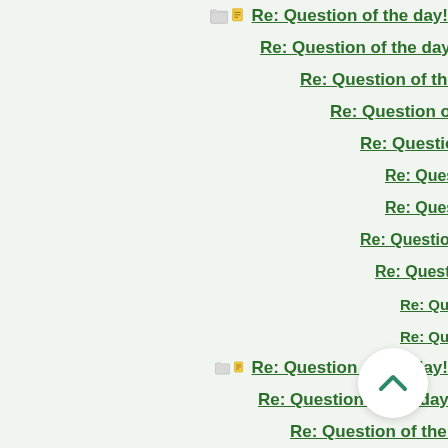Re: Question of the day!
Re: Question of the day!
Re: Question of the day!
Re: Question of the day!
Re: Question of the day!
Re: Question of the day!
Re: Question of the day!
Re: Question of the day!
Re: Question of the day!
Re: Question of the day!
Re: Question of the day!
Re: Question of the day!
Re: Question of the day!
Re: Question of the day!
Re: Question of the day!
Re: Question of the day!
Re: Question of the day!
Re: Question of the day!
Re: Question of the day!